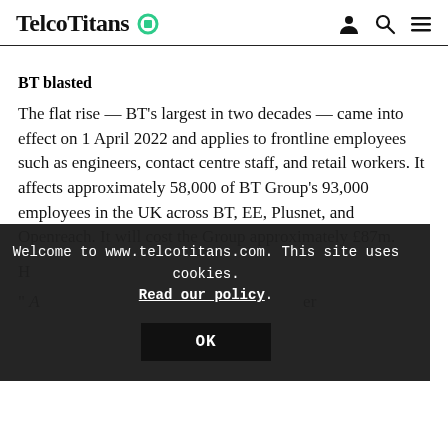TelcoTitans
BT blasted
The flat rise — BT’s largest in two decades — came into effect on 1 April 2022 and applies to frontline employees such as engineers, contact centre staff, and retail workers. It affects approximately 58,000 of BT Group’s 93,000 employees in the UK across BT, EE, Plusnet, and Openreach. It will cost the Group approximately £87m.
H...
[Figure (screenshot): Cookie consent overlay banner reading: Welcome to www.telcotitans.com. This site uses cookies. Read our policy. [OK button]]
“A... er what they say. They’re making massive profits, and the workers who create that profit for them are in serious